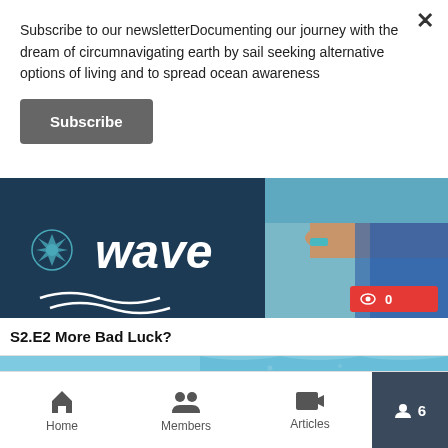Subscribe to our newsletterDocumenting our journey with the dream of circumnavigating earth by sail seeking alternative options of living and to spread ocean awareness
Subscribe
[Figure (photo): Video thumbnail showing 'Wave' sailing channel logo on a dark navy background with a person sitting on a boat deck, teal water visible. Red badge with eye icon and '0' in bottom right corner.]
S2.E2 More Bad Luck?
[Figure (photo): Video thumbnail with text 'CATCH' in large white block letters on a light blue underwater/ocean background with a person swimming visible.]
Home
Members
Articles
6